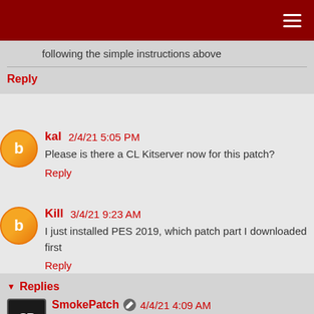following the simple instructions above
Reply
kal  2/4/21 5:05 PM
Please is there a CL Kitserver now for this patch?
Reply
Kill  3/4/21 9:23 AM
I just installed PES 2019, which patch part I downloaded first
Reply
Replies
SmokePatch  4/4/21 4:09 AM
install instructions above